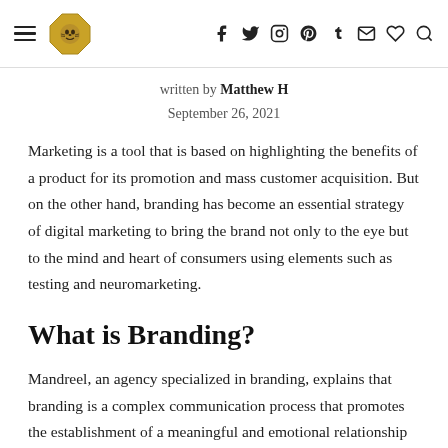≡ [logo] f y ○ ℗ t ✉ ♡ 🔍
written by Matthew H
September 26, 2021
Marketing is a tool that is based on highlighting the benefits of a product for its promotion and mass customer acquisition. But on the other hand, branding has become an essential strategy of digital marketing to bring the brand not only to the eye but to the mind and heart of consumers using elements such as testing and neuromarketing.
What is Branding?
Mandreel, an agency specialized in branding, explains that branding is a complex communication process that promotes the establishment of a meaningful and emotional relationship with a brand. This is achieved through the association of a name or logo that affirms its image as an excellent company or product.